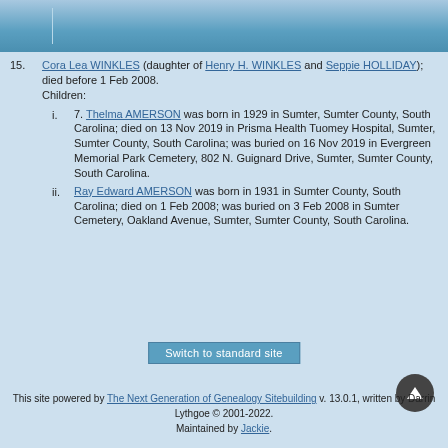15. Cora Lea WINKLES (daughter of Henry H. WINKLES and Seppie HOLLIDAY); died before 1 Feb 2008. Children:
i. 7. Thelma AMERSON was born in 1929 in Sumter, Sumter County, South Carolina; died on 13 Nov 2019 in Prisma Health Tuomey Hospital, Sumter, Sumter County, South Carolina; was buried on 16 Nov 2019 in Evergreen Memorial Park Cemetery, 802 N. Guignard Drive, Sumter, Sumter County, South Carolina.
ii. Ray Edward AMERSON was born in 1931 in Sumter County, South Carolina; died on 1 Feb 2008; was buried on 3 Feb 2008 in Sumter Cemetery, Oakland Avenue, Sumter, Sumter County, South Carolina.
Switch to standard site
This site powered by The Next Generation of Genealogy Sitebuilding v. 13.0.1, written by Darrin Lythgoe © 2001-2022. Maintained by Jackie.